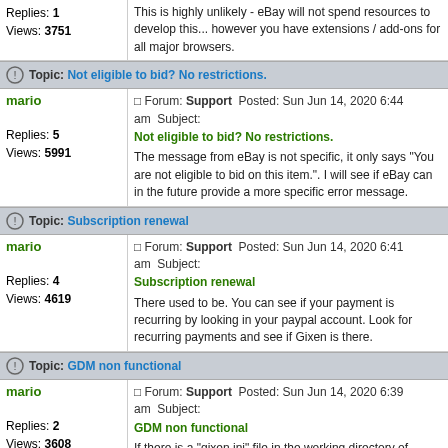Replies: 1
Views: 3751 | This is highly unlikely - eBay will not spend resources to develop this... however you have extensions / add-ons for all major browsers.
Topic: Not eligible to bid? No restrictions.
mario | Forum: Support  Posted: Sun Jun 14, 2020 6:44 am  Subject: Not eligible to bid? No restrictions.
Replies: 5
Views: 5991
The message from eBay is not specific, it only says "You are not eligible to bid on this item.". I will see if eBay can in the future provide a more specific error message.
Topic: Subscription renewal
mario | Forum: Support  Posted: Sun Jun 14, 2020 6:41 am  Subject: Subscription renewal
Replies: 4
Views: 4619
There used to be. You can see if your payment is recurring by looking in your paypal account. Look for recurring payments and see if Gixen is there.
Topic: GDM non functional
mario | Forum: Support  Posted: Sun Jun 14, 2020 6:39 am  Subject: GDM non functional
Replies: 2
Views: 3608
If there is a "gixen.ini" file in the working directory of GDM, delete it and then try again.
Topic: CHARGES
mario | Forum: Support  Posted: Thu Jun 11, 2020 6:43 am  Subject: CHARGES
Replies: 2
Views: 4180
Refund is never a problem, but if there is an issue I would really like to know about it. Please email me.
Topic: Not eligible to bid? No restrictions.
mario | Forum: Support  Posted: Thu Jun 11, 2020 6:36 am  Subject: